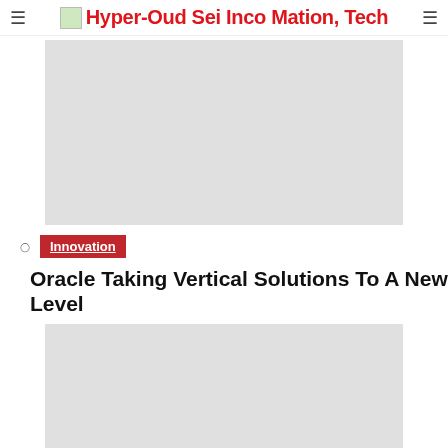Hyper-Oud Sei Inco Mation, Tech
[Figure (photo): Large gray placeholder image block at top of page]
Innovation
Oracle Taking Vertical Solutions To A New Level
[Figure (photo): Large gray placeholder image block at bottom of page]